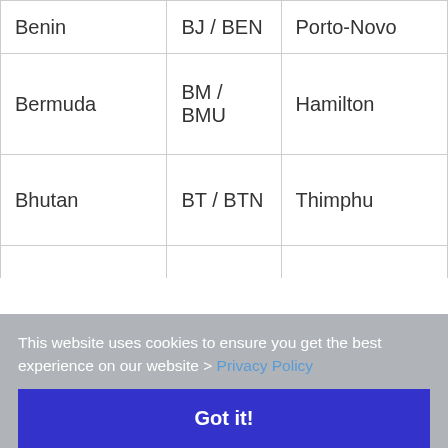| Country | Code | Capital |
| --- | --- | --- |
| Benin | BJ / BEN | Porto‑Novo |
| Bermuda | BM / BMU | Hamilton |
| Bhutan | BT / BTN | Thimphu |
| Bolivia | BO / BOL | La Paz (administrative) Sucre (constitutional) |
|  |  |  |
This website uses cookies to ensure you get the best experience on our website > Privacy Policy
Got it!